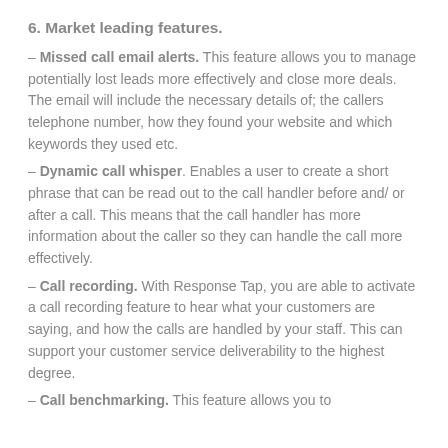6. Market leading features.
– Missed call email alerts. This feature allows you to manage potentially lost leads more effectively and close more deals. The email will include the necessary details of; the callers telephone number, how they found your website and which keywords they used etc.
– Dynamic call whisper. Enables a user to create a short phrase that can be read out to the call handler before and/ or after a call. This means that the call handler has more information about the caller so they can handle the call more effectively.
– Call recording. With Response Tap, you are able to activate a call recording feature to hear what your customers are saying, and how the calls are handled by your staff. This can support your customer service deliverability to the highest degree.
– Call benchmarking. This feature allows you to